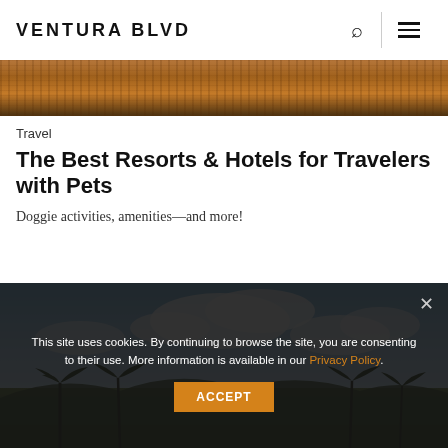VENTURA BLVD
[Figure (photo): Top strip photo of dry brown grassy/brush landscape texture]
Travel
The Best Resorts & Hotels for Travelers with Pets
Doggie activities, amenities—and more!
[Figure (photo): Bottom photo showing blue cloudy sky over a resort landscape with palm trees and hills]
This site uses cookies. By continuing to browse the site, you are consenting to their use. More information is available in our Privacy Policy.